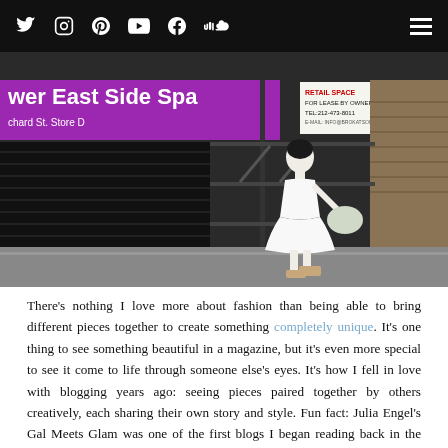[Navigation bar with social media icons: Twitter, Instagram, Pinterest, YouTube, Facebook, SoundCloud, and hamburger menu]
[Figure (photo): Street photo of a woman in a white dress and platform sneakers walking on a New York City sidewalk in front of Lower East Side Spa store with purple signage and a fire escape staircase in the background. A retail space for lease sign is visible on the right.]
There's nothing I love more about fashion than being able to bring different pieces together to create something completely unique. It's one thing to see something beautiful in a magazine, but it's even more special to see it come to life through someone else's eyes. It's how I fell in love with blogging years ago: seeing pieces paired together by others creatively, each sharing their own story and style. Fun fact: Julia Engel's Gal Meets Glam was one of the first blogs I began reading back in the day. Her storytelling in addition to beautiful outfits was what I loved most. Each blog post was a peek inside her love of